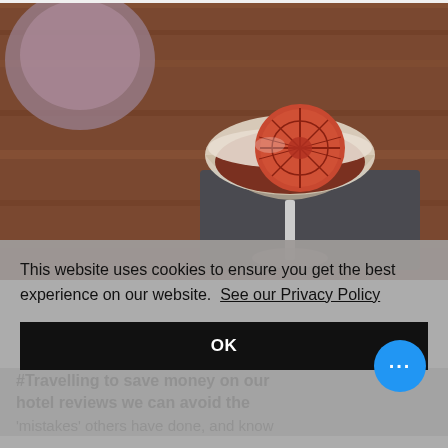[Figure (photo): A cocktail in a coupe glass garnished with a dried blood orange slice, sitting on a dark slate coaster on a wooden table. A metallic bowl is blurred in the background.]
This website uses cookies to ensure you get the best experience on our website.  See our Privacy Policy
OK
#Travelling to save money on our hotel reviews we can avoid the 'mistakes' others have done, and know